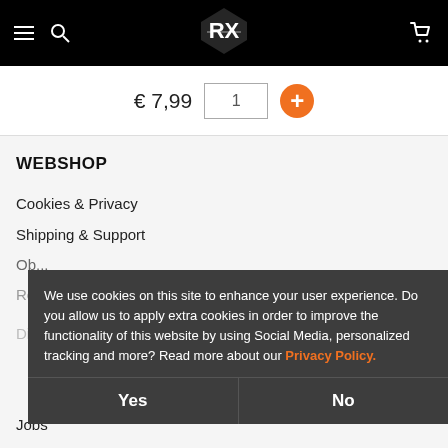Navigation bar with hamburger menu, search icon, logo, and cart icon
€ 7,99  1  +
WEBSHOP
Cookies & Privacy
Shipping & Support
About
Rock Her Music
Distribution
Jobs
We use cookies on this site to enhance your user experience. Do you allow us to apply extra cookies in order to improve the functionality of this website by using Social Media, personalized tracking and more? Read more about our Privacy Policy.
Yes
No